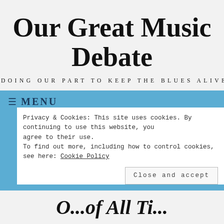Our Great Music Debate
DOING OUR PART TO KEEP THE BLUES ALIVE!
≡ MENU
Privacy & Cookies: This site uses cookies. By continuing to use this website, you agree to their use.
To find out more, including how to control cookies, see here: Cookie Policy
Close and accept
O...of All Ti...